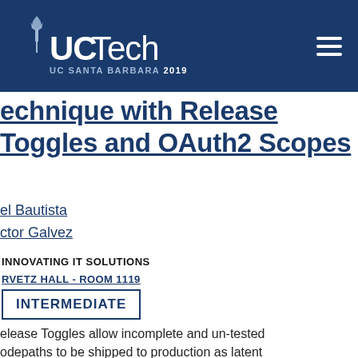[Figure (logo): UC Tech UC Santa Barbara 2019 logo on dark blue header bar with hamburger menu icon]
…echnique with Release Toggles and OAuth2 Scopes
…el Bautista
…ctor Galvez
INNOVATING IT SOLUTIONS
RVETZ HALL - ROOM 1119
INTERMEDIATE
Release Toggles allow incomplete and un-tested codepaths to be shipped to production as latent …which…